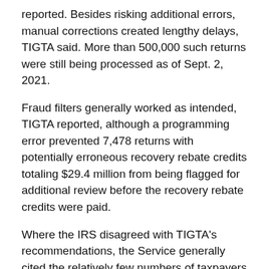reported. Besides risking additional errors, manual corrections created lengthy delays, TIGTA said. More than 500,000 such returns were still being processed as of Sept. 2, 2021.
Fraud filters generally worked as intended, TIGTA reported, although a programming error prevented 7,478 returns with potentially erroneous recovery rebate credits totaling $29.4 million from being flagged for additional review before the recovery rebate credits were paid.
Where the IRS disagreed with TIGTA's recommendations, the Service generally cited the relatively few numbers of taxpayers involved and